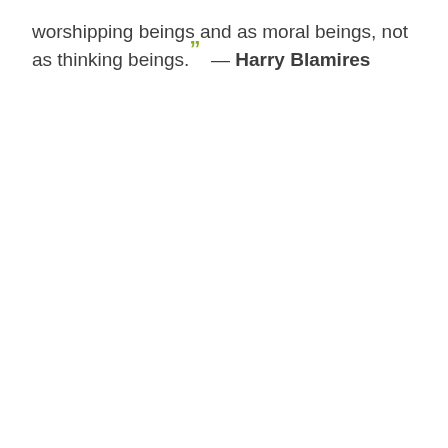worshipping beings and as moral beings, not as thinking beings." — Harry Blamires